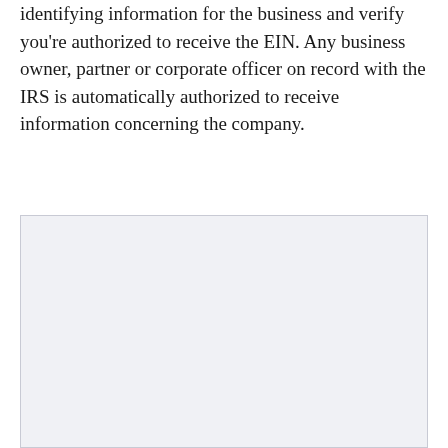identifying information for the business and verify you're authorized to receive the EIN. Any business owner, partner or corporate officer on record with the IRS is automatically authorized to receive information concerning the company.
[Figure (other): A blank light gray rectangle with a border, appearing to be an empty content placeholder box.]